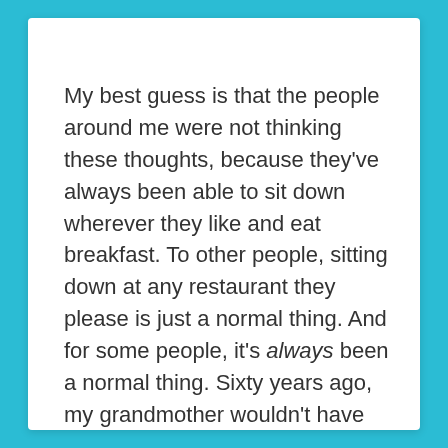My best guess is that the people around me were not thinking these thoughts, because they've always been able to sit down wherever they like and eat breakfast. To other people, sitting down at any restaurant they please is just a normal thing. And for some people, it's always been a normal thing. Sixty years ago, my grandmother wouldn't have been able to do the very simple thing that I was doing, at least not in the way I was at that moment.